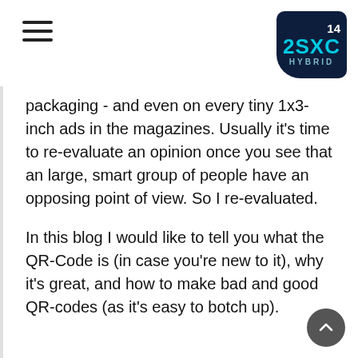14 2SXC HYBRID
packaging - and even on every tiny 1x3-inch ads in the magazines. Usually it's time to re-evaluate an opinion once you see that an large, smart group of people have an opposing point of view. So I re-evaluated.
In this blog I would like to tell you what the QR-Code is (in case you're new to it), why it's great, and how to make bad and good QR-codes (as it's easy to botch up).